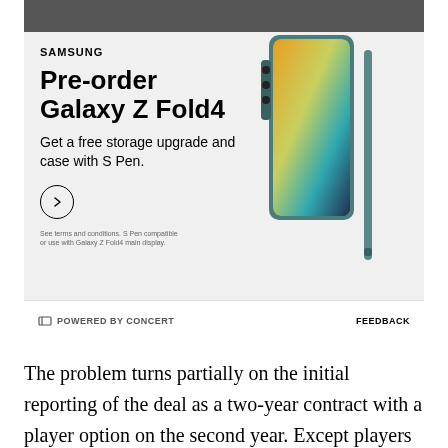[Figure (illustration): Samsung advertisement for Galaxy Z Fold4 pre-order. Shows Samsung logo, headline 'Pre-order Galaxy Z Fold4', subtext 'Get a free storage upgrade and case with S Pen.', a circular arrow button, fine print about terms, and a product image of the teal/green Galaxy Z Fold4 phone with S Pen. Footer reads 'POWERED BY CONCERT' and 'FEEDBACK'.]
The problem turns partially on the initial reporting of the deal as a two-year contract with a player option on the second year. Except players with Early Bird rights (like Pat) can't have a PO on the second season, and so if the Bucks hadn't realized that until they offered the contract, they would need to adjust the deal and make